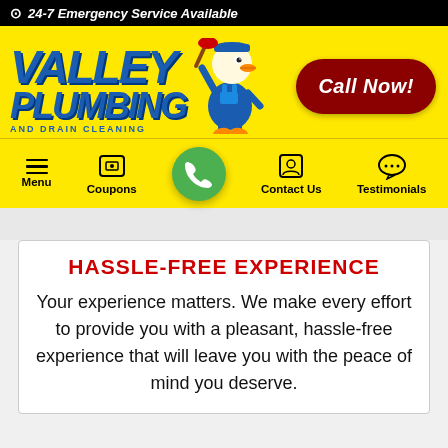24-7 Emergency Service Available
[Figure (logo): Valley Plumbing and Drain Cleaning logo with duck mascot holding a plunger on yellow background, and a red 'Call Now!' button]
[Figure (infographic): Navigation bar with Menu, Coupons, phone call button, Contact Us, and Testimonials icons on yellow background]
HASSLE-FREE EXPERIENCE
Your experience matters. We make every effort to provide you with a pleasant, hassle-free experience that will leave you with the peace of mind you deserve.